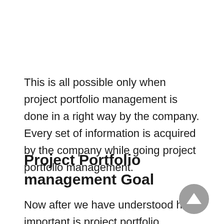This is all possible only when project portfolio management is done in a right way by the company. Every set of information is acquired by the company while going project portfolio management.
Project Portfolio management Goal
Now after we have understood how important is project portfolio management, it